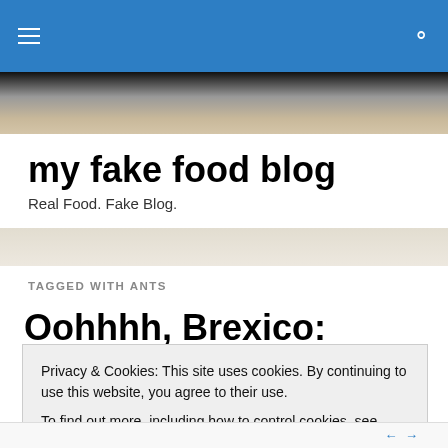my fake food blog — navigation bar with hamburger menu and search icon
[Figure (photo): Partial photo of a bowl, dark to tan gradient, appearing at top of page below nav bar]
my fake food blog
Real Food. Fake Blog.
TAGGED WITH ANTS
Oohhhh, Brexico: Baked Ranchero Eggs with Blistered
Privacy & Cookies: This site uses cookies. By continuing to use this website, you agree to their use.
To find out more, including how to control cookies, see here: Cookie Policy
Close and accept